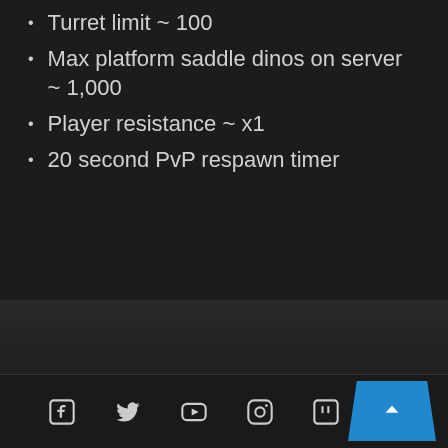Turret limit ~ 100
Max platform saddle dinos on server ~ 1,000
Player resistance ~ x1
20 second PvP respawn timer
[Figure (other): Footer social media icons: Facebook, Twitter, YouTube, Instagram, Twitch, and a scroll-to-top button (blue trapezoid with upward arrow)]